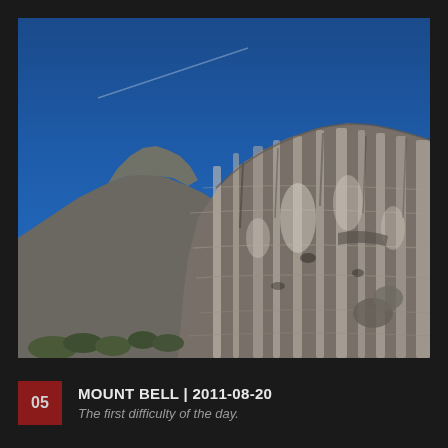[Figure (photo): Looking up at a steep rocky mountain cliff face with layered sedimentary rock under a deep blue sky. The rock wall dominates the right side and center, with a rocky pinnacle visible in the middle distance on the left against the blue sky.]
05  MOUNT BELL | 2011-08-20  The first difficulty of the day.